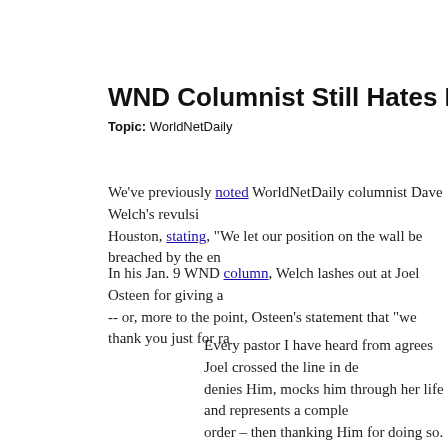WND Columnist Still Hates Lesbian Mayor
Topic: WorldNetDaily
We've previously noted WorldNetDaily columnist Dave Welch's revulsion at Houston, stating, "We let our position on the wall be breached by the en
In his Jan. 9 WND column, Welch lashes out at Joel Osteen for giving a -- or, more to the point, Osteen's statement that "we thank you just for ra
Every pastor I have heard from agrees Joel crossed the line in de denies Him, mocks him through her life and represents a comple order – then thanking Him for doing so. Did God raise up Barack etc. as well? Proverbs 16:4 tells us that God makes even the wick Matthew Henry stated:
He makes some use even of wicked men, as of other thing 17:13, 14), flagellum Dei – the scourge of God. ("Matthew
I don't think, by the way, this context is what Joel had in mind du